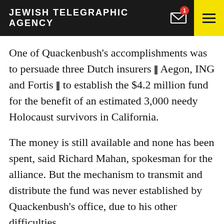JEWISH TELEGRAPHIC AGENCY
One of Quackenbush’s accomplishments was to persuade three Dutch insurers — Aegon, ING and Fortis — to establish the $4.2 million fund for the benefit of an estimated 3,000 needy Holocaust survivors in California.
The money is still available and none has been spent, said Richard Mahan, spokesman for the alliance. But the mechanism to transmit and distribute the fund was never established by Quackenbush’s office, due to his other difficulties.
Si Frumkin, who serves on the alliance’s executive